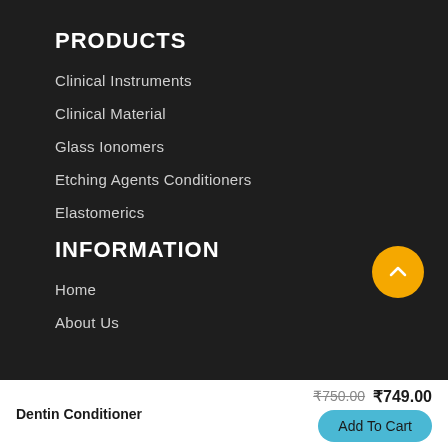PRODUCTS
Clinical Instruments
Clinical Material
Glass Ionomers
Etching Agents Conditioners
Elastomerics
INFORMATION
Home
About Us
Dentin Conditioner
₹750.00  ₹749.00
Add To Cart